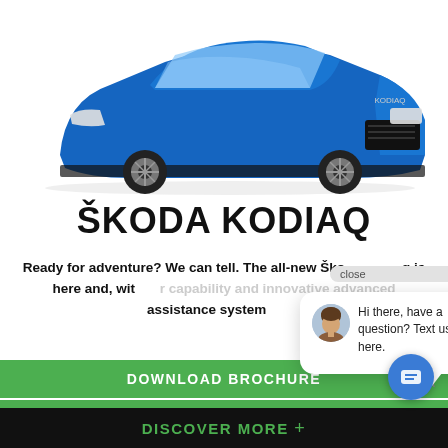[Figure (photo): Blue Škoda Kodiaq SUV photographed from front-left angle on white background]
ŠKODA KODIAQ
Ready for adventure? We can tell. The all-new Škoda Kodiaq is here and, with for capability and innovative advanced assistance systems, his
[Figure (screenshot): Chat popup overlay with female avatar and text: Hi there, have a question? Text us here. With close button and blue chat FAB icon.]
DOWNLOAD BROCHURE
DISCOVER MORE +